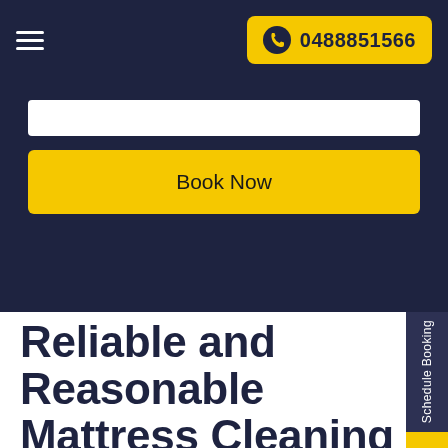0488851566
Book Now
Reliable and Reasonable Mattress Cleaning Services
Searching for a trustworthy company that offers excellent mattress cleaning services Uranquinty? If yes, then your